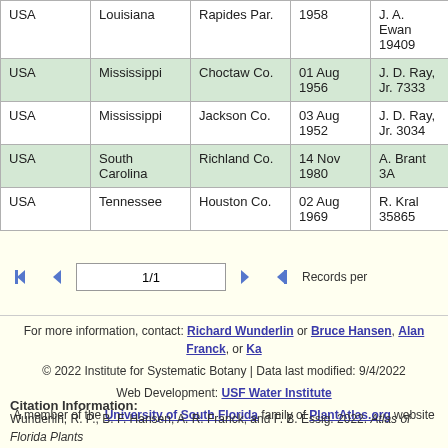| Country | State/Province | County | Date | Collector |
| --- | --- | --- | --- | --- |
| USA | Louisiana | Rapides Par. | 1958 | J. A. Ewan 19409 |
| USA | Mississippi | Choctaw Co. | 01 Aug 1956 | J. D. Ray, Jr. 7333 |
| USA | Mississippi | Jackson Co. | 03 Aug 1952 | J. D. Ray, Jr. 3034 |
| USA | South Carolina | Richland Co. | 14 Nov 1980 | A. Brant 3A |
| USA | Tennessee | Houston Co. | 02 Aug 1969 | R. Kral 35865 |
1/1  Records per
For more information, contact: Richard Wunderlin or Bruce Hansen, Alan Franck, or Ka...
© 2022 Institute for Systematic Botany | Data last modified: 9/4/2022
Web Development: USF Water Institute
A member of the University of South Florida family of PlantAtlas.org website
Citation Information:
Wunderlin, R. P., B. F. Hansen, A. R. Franck, and F. B. Essig. 2022. Atlas of Florida Plants (http://florida.plantatlas.usf.edu/). S. M. Landry and K. N. Campbell (application develop...